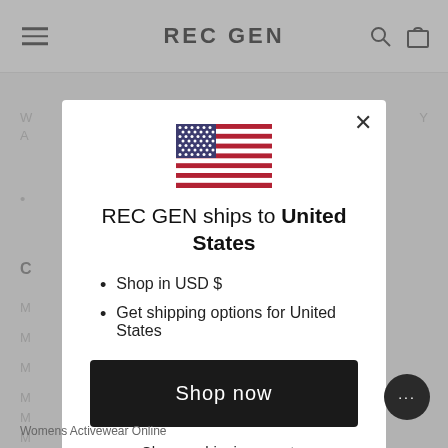REC GEN
[Figure (screenshot): US flag SVG illustration centered in modal]
REC GEN ships to United States
Shop in USD $
Get shipping options for United States
Shop now
Change shipping country
Womens Activewear Online